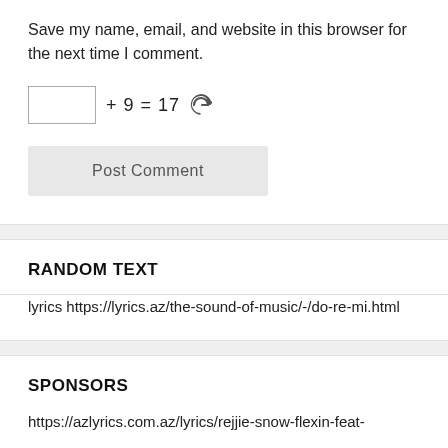Save my name, email, and website in this browser for the next time I comment.
+ 9 = 17
Post Comment
RANDOM TEXT
lyrics https://lyrics.az/the-sound-of-music/-/do-re-mi.html
SPONSORS
https://azlyrics.com.az/lyrics/rejjie-snow-flexin-feat-